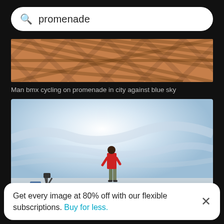promenade
[Figure (photo): Blurred close-up of a chain-link fence with warm brownish-red tones — partially visible image of bmx cycling on promenade]
Man bmx cycling on promenade in city against blue sky
[Figure (photo): Man in red shirt standing on a promenade or elevated surface against a bright overcast sky, viewed from behind. Another figure and some equipment visible in the lower left.]
Get every image at 80% off with our flexible subscriptions. Buy for less.